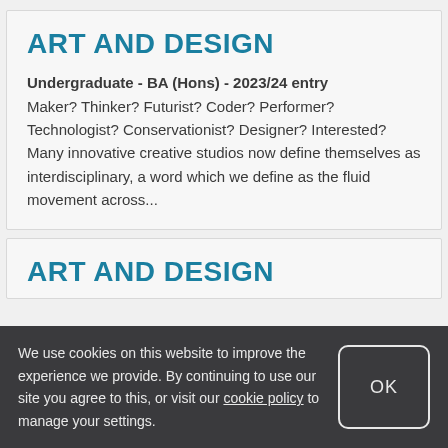ART AND DESIGN
Undergraduate - BA (Hons) - 2023/24 entry
Maker? Thinker? Futurist? Coder? Performer? Technologist? Conservationist? Designer? Interested? Many innovative creative studios now define themselves as interdisciplinary, a word which we define as the fluid movement across...
ART AND DESIGN
We use cookies on this website to improve the experience we provide. By continuing to use our site you agree to this, or visit our cookie policy to manage your settings.